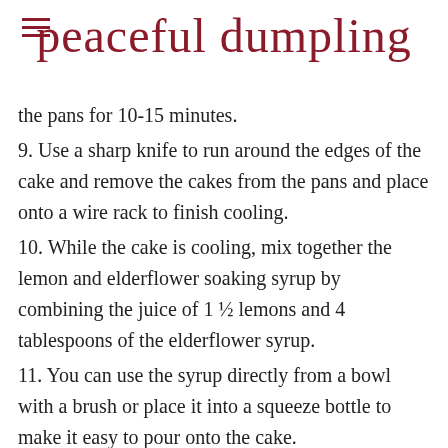peaceful dumpling
the pans for 10-15 minutes.
9. Use a sharp knife to run around the edges of the cake and remove the cakes from the pans and place onto a wire rack to finish cooling.
10. While the cake is cooling, mix together the lemon and elderflower soaking syrup by combining the juice of 1 ½ lemons and 4 tablespoons of the elderflower syrup.
11. You can use the syrup directly from a bowl with a brush or place it into a squeeze bottle to make it easy to pour onto the cake.
12. Once the cakes are completely cooled, use a fork to poke shallow holes all over the top of the 2 cake layers.